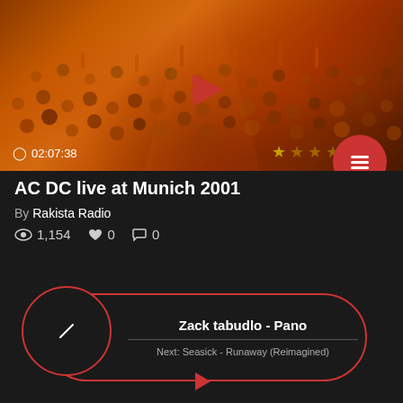[Figure (screenshot): Concert crowd video thumbnail with orange/red tones, play button in center. Shows duration 02:07:38 and star rating overlay.]
AC DC live at Munich 2001
By Rakista Radio
1,154 views, 0 likes, 0 comments
[Figure (screenshot): Music player widget showing current track: Zack tabudlo - Pano, Next: Seasick - Runaway (Reimagined), with play button and expand icon]